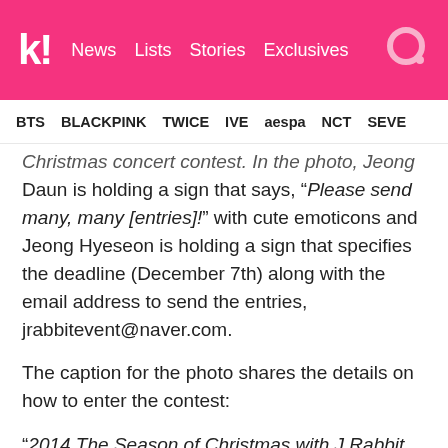k! News Lists Stories Exclusives
BTS BLACKPINK TWICE IVE aespa NCT SEVE
Christmas concert contest. In the photo, Jeong Daun is holding a sign that says, “Please send many, many [entries]!” with cute emoticons and Jeong Hyeseon is holding a sign that specifies the deadline (December 7th) along with the email address to send the entries, jrabbitevent@naver.com.
The caption for the photo shares the details on how to enter the contest:
“2014 The Season of Christmas with J Rabbit Concert Event!
1. Book a ticket for the 2014 The Season of